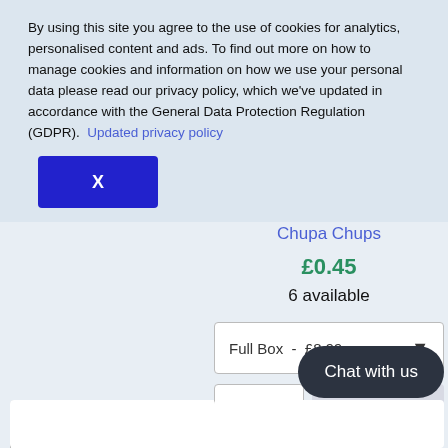By using this site you agree to the use of cookies for analytics, personalised content and ads. To find out more on how to manage cookies and information on how we use your personal data please read our privacy policy, which we've updated in accordance with the General Data Protection Regulation (GDPR).  Updated privacy policy
X
Chupa Chups
£0.45
6 available
Full Box  -  £8.99
Add to cart
Add to cart
Chat with us